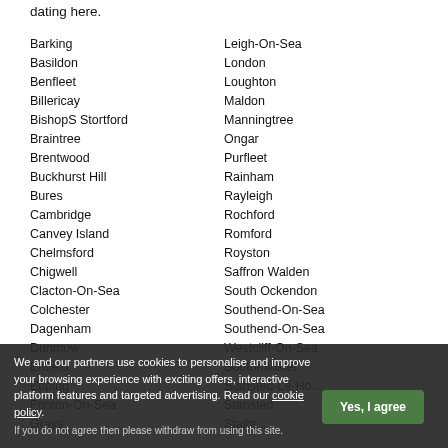dating here.
Barking
Basildon
Benfleet
Billericay
BishopS Stortford
Braintree
Brentwood
Buckhurst Hill
Bures
Cambridge
Canvey Island
Chelmsford
Chigwell
Clacton-On-Sea
Colchester
Dagenham
Dunmow
Enfield
Epping
Frinton-On-Sea
Grays
Leigh-On-Sea
London
Loughton
Maldon
Manningtree
Ongar
Purfleet
Rainham
Rayleigh
Rochford
Romford
Royston
Saffron Walden
South Ockendon
Southend-On-Sea
Southend-On-Sea
Westcliff-On-Sea
Southminster
Stansted-Le-Ho...
Stansted
Stalbr...
We and our partners use cookies to personalise and improve your browsing experience with exciting offers, interactive platform features and targeted advertising. Read our cookie policy. If you do not agree then please withdraw from using this site.